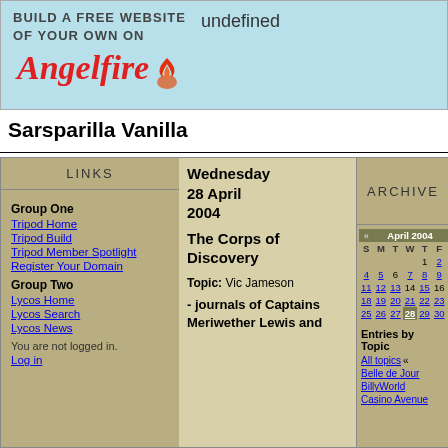[Figure (other): Angelfire banner ad: BUILD A FREE WEBSITE OF YOUR OWN ON Angelfire. Text 'undefined' appears top right.]
Sarsparilla Vanilla
| LINKS | Wednesday 28 April 2004 / The Corps of Discovery / Topic: Vic Jameson / - journals of Captains Meriwether Lewis and | ARCHIVE |
| --- | --- | --- |
| Group One |  | April 2004 calendar |
| Tripod Home |  |  |
| Tripod Build |  |  |
| Tripod Member Spotlight |  |  |
| Register Your Domain |  |  |
| Group Two |  | Entries by Topic |
| Lycos Home |  | All topics « |
| Lycos Search |  | Belle de Jour |
| Lycos News |  | BillyWorld |
| You are not logged in. |  | Casino Avenue |
| Log in |  |  |